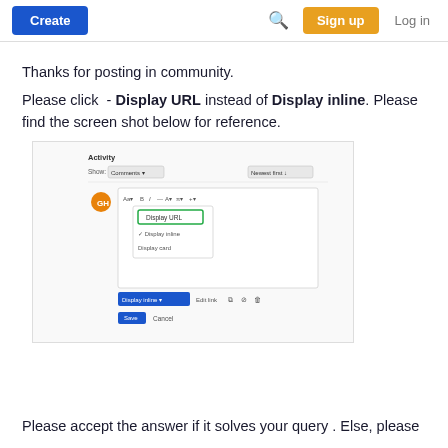Create | Search | Sign up | Log in
Thanks for posting in community.
Please click  - Display URL instead of Display inline. Please find the screen shot below for reference.
[Figure (screenshot): Screenshot of a community editor interface showing a dropdown menu with options: Display URL (highlighted with green border), Display inline (checked), Display card. A blue 'Display inline' button is visible at the bottom with 'Save' and 'Cancel' buttons.]
Please accept the answer if it solves your query . Else, please